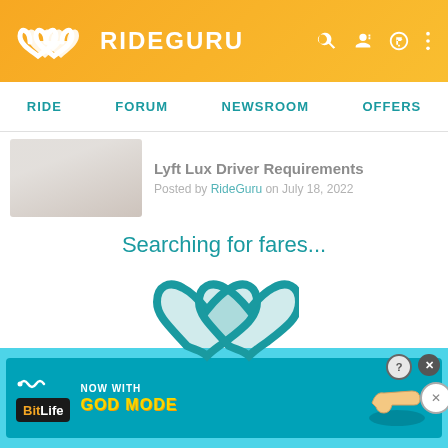RIDEGURU
RIDE | FORUM | NEWSROOM | OFFERS
Lyft Lux Driver Requirements
Posted by RideGuru on July 18, 2022
Searching for fares...
[Figure (logo): RideGuru spinning infinity/heart logo loading animation in teal]
Lyft Driver Acceptance Rate
Posted by RideGuru on July 12, 2022
Trending Forum Topics
[Figure (screenshot): BitLife advertisement banner: NOW WITH GOD MODE with phone hand illustration]